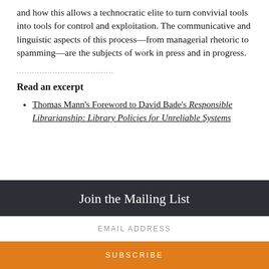and how this allows a technocratic elite to turn convivial tools into tools for control and exploitation. The communicative and linguistic aspects of this process—from managerial rhetoric to spamming—are the subjects of work in press and in progress.
......................................
Read an excerpt
Thomas Mann's Foreword to David Bade's Responsible Librarianship: Library Policies for Unreliable Systems
Join the Mailing List
EMAIL ADDRESS
SUBSCRIBE